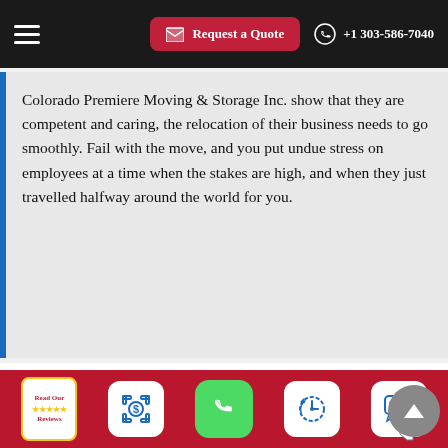Request a Quote  +1 303-586-7040
Colorado Premiere Moving & Storage Inc. show that they are competent and caring, the relocation of their business needs to go smoothly. Fail with the move, and you put undue stress on employees at a time when the stakes are high, and when they just travelled halfway around the world for you.
Colorado Premiere Moving & Storage Inc. has been successfully relocating companies for over a decade. We have the resources and expertise to transfer your company to an overseas location with the minimum of cost and
[Figure (screenshot): Bottom toolbar with icons: Read Our Reviews badge, dollar sign scanner icon, green phone icon, clock/history icon, chat bubble icon]